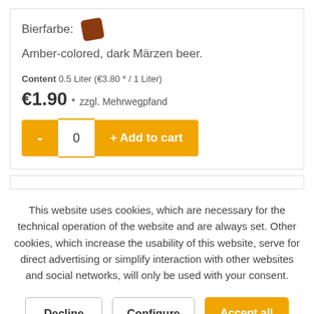Bierfarbe: [amber-brown color swatch]
Amber-colored, dark Märzen beer.
Content 0.5 Liter (€3.80 * / 1 Liter)
€1.90 * zzgl. Mehrwegpfand
- 0 + Add to cart
This website uses cookies, which are necessary for the technical operation of the website and are always set. Other cookies, which increase the usability of this website, serve for direct advertising or simplify interaction with other websites and social networks, will only be used with your consent.
Decline
Configure
Accept all